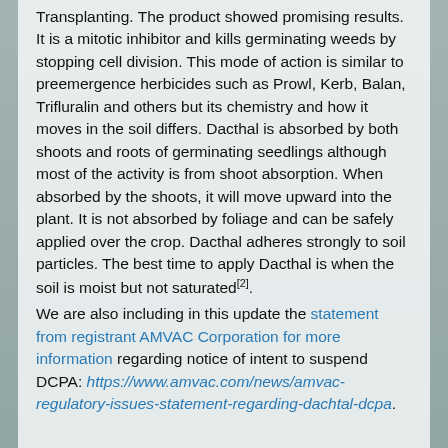Transplanting. The product showed promising results. It is a mitotic inhibitor and kills germinating weeds by stopping cell division. This mode of action is similar to preemergence herbicides such as Prowl, Kerb, Balan, Trifluralin and others but its chemistry and how it moves in the soil differs. Dacthal is absorbed by both shoots and roots of germinating seedlings although most of the activity is from shoot absorption. When absorbed by the shoots, it will move upward into the plant. It is not absorbed by foliage and can be safely applied over the crop. Dacthal adheres strongly to soil particles. The best time to apply Dacthal is when the soil is moist but not saturated[2].
We are also including in this update the statement from registrant AMVAC Corporation for more information regarding notice of intent to suspend DCPA: https://www.amvac.com/news/amvac-regulatory-issues-statement-regarding-dachtal-dcpa.